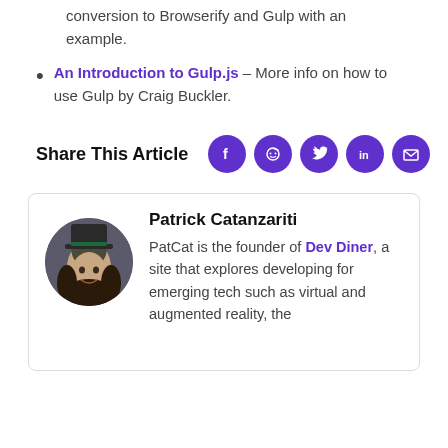conversion to Browserify and Gulp with an example.
An Introduction to Gulp.js – More info on how to use Gulp by Craig Buckler.
Share This Article
[Figure (infographic): Social share icons: Facebook, Reddit, Twitter, LinkedIn, Email — all purple circles with white icons]
Patrick Catanzariti
PatCat is the founder of Dev Diner, a site that explores developing for emerging tech such as virtual and augmented reality, the